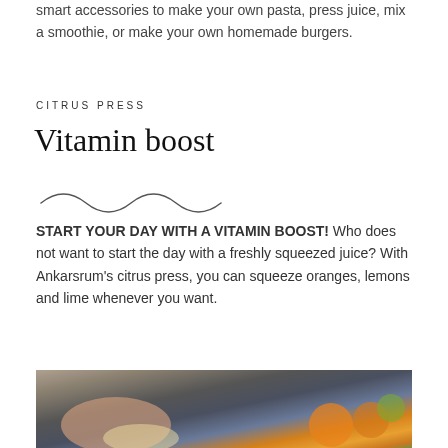smart accessories to make your own pasta, press juice, mix a smoothie, or make your own homemade burgers.
CITRUS PRESS
Vitamin boost
[Figure (illustration): Decorative wavy/squiggly line divider]
START YOUR DAY WITH A VITAMIN BOOST! Who does not want to start the day with a freshly squeezed juice? With Ankarsrum's citrus press, you can squeeze oranges, lemons and lime whenever you want.
[Figure (photo): Photo of a person's hands using a citrus juicer with oranges and other citrus fruits visible on a dark surface]